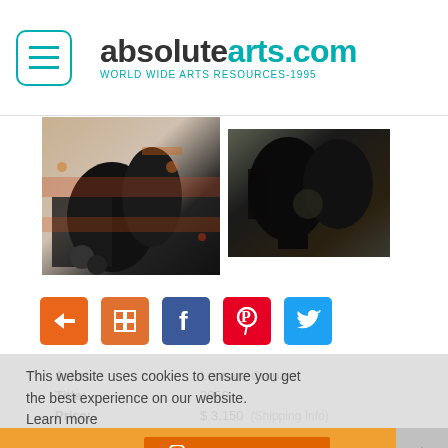absolutearts.com WORLD WIDE ARTS RESOURCES-1995
[Figure (photo): Two artwork images side by side: left is a large abstract expressionist painting with dark figure and colorful splatters, right is a smaller darker abstract painting]
[Figure (infographic): Row of social/navigation icon buttons: back arrow (orange), fullscreen (orange), Facebook (blue), Pinterest (red), Twitter (blue)]
This website uses cookies to ensure you get the best experience on our website. Learn more
Artist: Leonard Curpan
Title: 2050
Price: $ 3,150 (Shipping Info)
[X] Got it! ADD TO CART